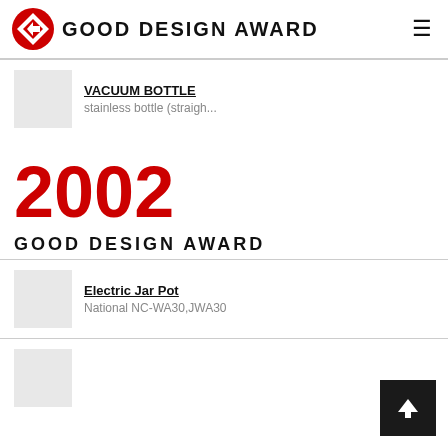GOOD DESIGN AWARD
VACUUM BOTTLE
stainless bottle (straigh...
2002
GOOD DESIGN AWARD
Electric Jar Pot
National NC-WA30,JWA30
[Figure (other): Partial thumbnail image, bottom of list]